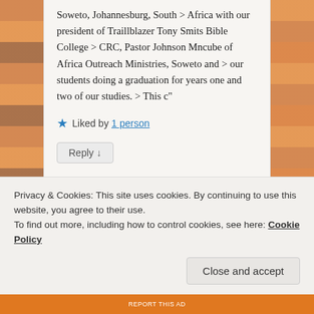Soweto, Johannesburg, South > Africa with our president of Traillblazer Tony Smits Bible College > CRC, Pastor Johnson Mncube of Africa Outreach Ministries, Soweto and > our students doing a graduation for years one and two of our studies. > This c"
★ Liked by 1 person
Reply ↓
REPORT THIS AD
Privacy & Cookies: This site uses cookies. By continuing to use this website, you agree to their use.
To find out more, including how to control cookies, see here: Cookie Policy
Close and accept